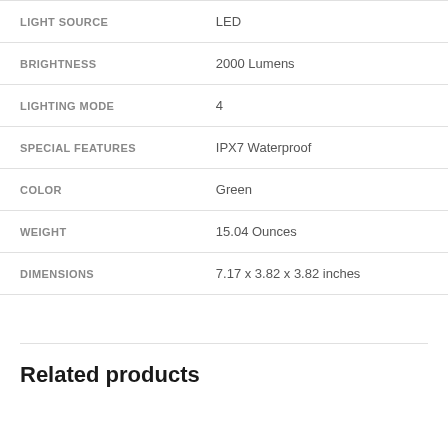| Attribute | Value |
| --- | --- |
| LIGHT SOURCE | LED |
| BRIGHTNESS | 2000 Lumens |
| LIGHTING MODE | 4 |
| SPECIAL FEATURES | IPX7 Waterproof |
| COLOR | Green |
| WEIGHT | 15.04 Ounces |
| DIMENSIONS | 7.17 x 3.82 x 3.82 inches |
Related products